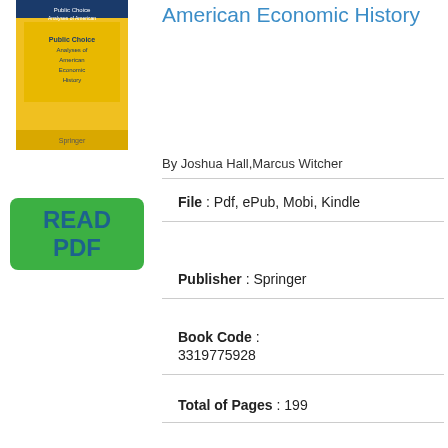[Figure (photo): Book cover of 'Public Choice Analyses of American Economic History' published by Springer, yellow cover]
[Figure (other): Green button with text READ PDF]
American Economic History
By Joshua Hall,Marcus Witcher
File : Pdf, ePub, Mobi, Kindle
Publisher : Springer
Book Code : 3319775928
Total of Pages : 199
Category : Business & Economics
Members : 272